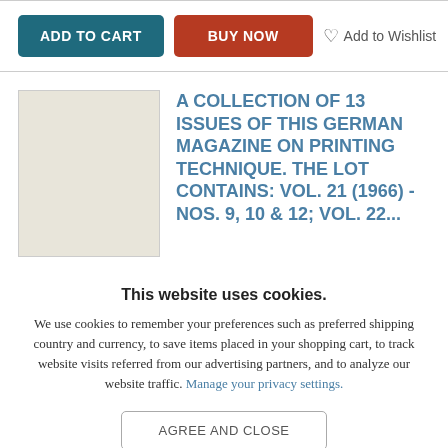ADD TO CART | BUY NOW | Add to Wishlist
[Figure (illustration): Blank/placeholder book cover thumbnail, light beige color]
A COLLECTION OF 13 ISSUES OF THIS GERMAN MAGAZINE ON PRINTING TECHNIQUE. THE LOT CONTAINS: VOL. 21 (1966) - NOS. 9, 10 & 12; VOL. 22...
This website uses cookies. We use cookies to remember your preferences such as preferred shipping country and currency, to save items placed in your shopping cart, to track website visits referred from our advertising partners, and to analyze our website traffic. Manage your privacy settings.
AGREE AND CLOSE